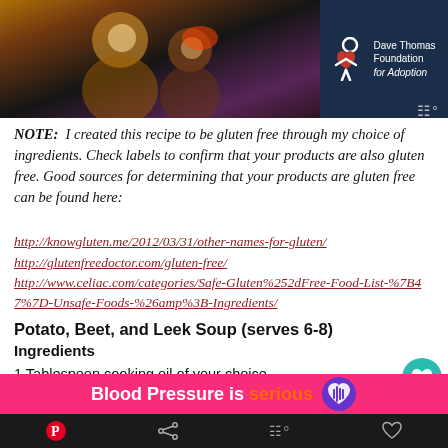[Figure (photo): Advertisement banner: photo of smiling people on left, Dave Thomas Foundation for Adoption logo on right with dark blue background]
NOTE:  I created this recipe to be gluten free through my choice of ingredients. Check labels to confirm that your products are also gluten free. Good sources for determining that your products are gluten free can be found here:
http://knowgluten.me/2012/03/31/other-names-for-gluten/
http://glutenfreedoctor.com/gluten-free/
http://www.celiac.com/categories/Safe-Gluten%252dFree-Food-List-%7B47%7D-Unsafe-Foods-%26amp%3B-Ingredients/
Potato, Beet, and Leek Soup (serves 6-8)
Ingredients
1 Tablespoon cooking oil of your choice
2 to 3 cups loosely packed, coarsely chopped leeks
3 to 4 cups coarsely chopped cabbage (I had Napa)
[Figure (infographic): Bottom advertisement banner: pink background with text 'Blood Pressure is serious' and a purple/dark heart icon with lines]